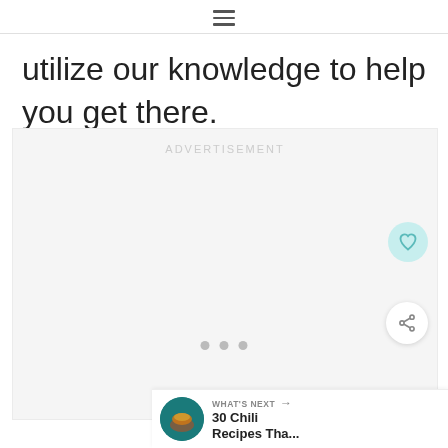≡
utilize our knowledge to help you get there.
[Figure (other): Advertisement placeholder box with light gray background and 'ADVERTISEMENT' label text centered at top. Three dots appear at the bottom center of the ad area. A teal heart/favourite button and a white share button are visible on the right side.]
WHAT'S NEXT → 30 Chili Recipes Tha...